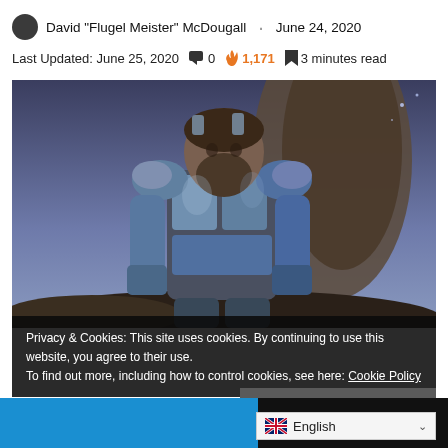David "Flugel Meister" McDougall · June 24, 2020
Last Updated: June 25, 2020  💬 0  🔥 1,171  📖 3 minutes read
[Figure (photo): A large armored warrior character with a beard, wearing heavy metallic armor, standing against a dramatic rocky spire and blue-purple sky background — appears to be a video game character.]
Privacy & Cookies: This site uses cookies. By continuing to use this website, you agree to their use.
To find out more, including how to control cookies, see here: Cookie Policy
Close and accept
English